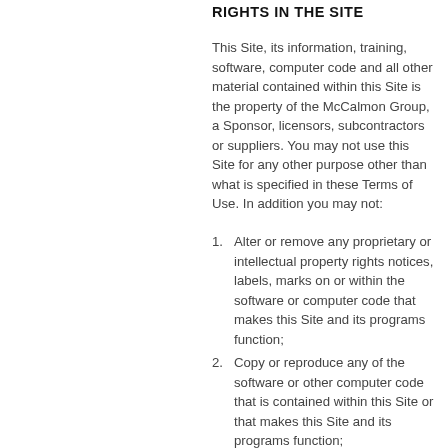RIGHTS IN THE SITE
This Site, its information, training, software, computer code and all other material contained within this Site is the property of the McCalmon Group, a Sponsor, licensors, subcontractors or suppliers. You may not use this Site for any other purpose other than what is specified in these Terms of Use. In addition you may not:
Alter or remove any proprietary or intellectual property rights notices, labels, marks on or within the software or computer code that makes this Site and its programs function;
Copy or reproduce any of the software or other computer code that is contained within this Site or that makes this Site and its programs function;
Translate, engineer, decompile, disassemble